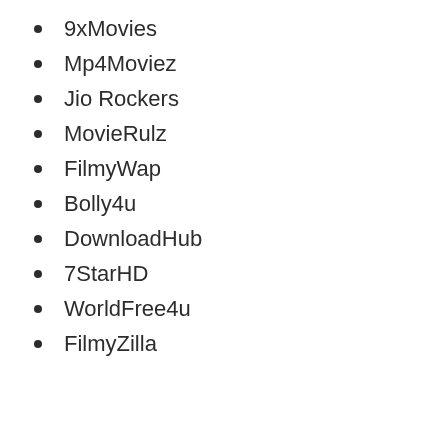9xMovies
Mp4Moviez
Jio Rockers
MovieRulz
FilmyWap
Bolly4u
DownloadHub
7StarHD
WorldFree4u
FilmyZilla